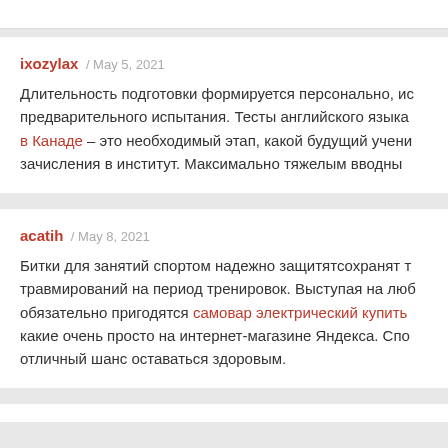ixozylax / May 5, 2021 — Длительность подготовки формируется персонально, ис предварительного испытания. Тесты английского языка в Канаде – это необходимый этап, какой будущий учени зачисления в институт. Максимально тяжелым вводным
acatih / May 8, 2021 — Битки для занятий спортом надежно защитятсохранят т травмирований на период тренировок. Выступая на люб обязательно пригодятся самовар электрический купить какие очень просто на интернет-магазине Яндекса. Спо отличный шанс оставаться здоровым.